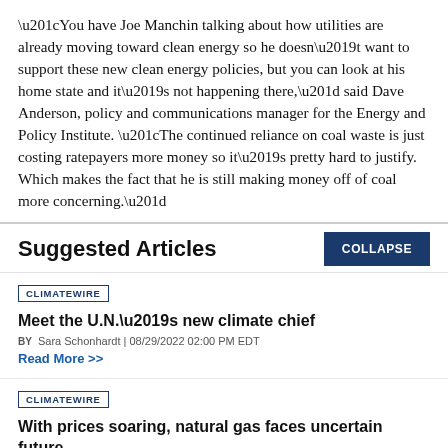“You have Joe Manchin talking about how utilities are already moving toward clean energy so he doesn’t want to support these new clean energy policies, but you can look at his home state and it’s not happening there,” said Dave Anderson, policy and communications manager for the Energy and Policy Institute. “The continued reliance on coal waste is just costing ratepayers more money so it’s pretty hard to justify. Which makes the fact that he is still making money off of coal more concerning.”
Suggested Articles
COLLAPSE
CLIMATEWIRE
Meet the U.N.’s new climate chief
BY Sara Schonhardt | 08/29/2022 02:00 PM EDT
Read More >>
CLIMATEWIRE
With prices soaring, natural gas faces uncertain future